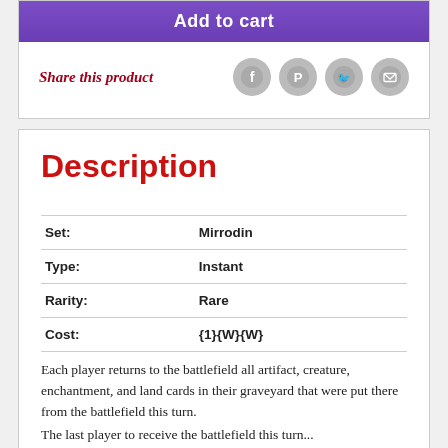Add to cart
Share this product
[Figure (other): Social share icons: Facebook, Pinterest, Twitter, Email]
Description
| Set: | Mirrodin |
| Type: | Instant |
| Rarity: | Rare |
| Cost: | {1}{W}{W} |
Each player returns to the battlefield all artifact, creature, enchantment, and land cards in their graveyard that were put there from the battlefield this turn.
The last player to receive the battlefield this turn...